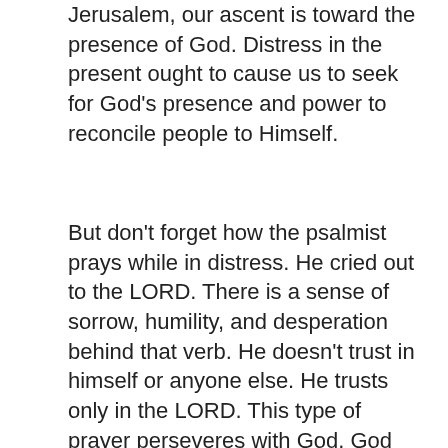Jerusalem, our ascent is toward the presence of God. Distress in the present ought to cause us to seek for God's presence and power to reconcile people to Himself.
But don't forget how the psalmist prays while in distress. He cried out to the LORD. There is a sense of sorrow, humility, and desperation behind that verb. He doesn't trust in himself or anyone else. He trusts only in the LORD. This type of prayer perseveres with God. God hears us when we cry out in our distress!
Notice that the psalmist begins with the resolution to distress. He cried and the LORD heard him. The LORD will hear us too. We know it. The outward circumstances of my life don't change all that much. I still struggle, but I expect struggle in Meshech and Kedar. However, inside me I find a